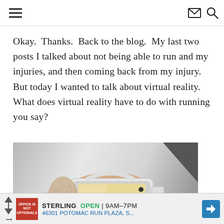[hamburger menu icon] [envelope icon] [search icon]
Okay.  Thanks.  Back to the blog.  My last two posts I talked about not being able to run and my injuries, and then coming back from my injury.  But today I wanted to talk about virtual reality.  What does virtual reality have to do with running you say?
[Figure (photo): Person wearing a VR headset (Samsung Gear VR) smiling/laughing, photographed from below against a light background]
STERLING  OPEN  9AM–7PM  46301 POTOMAC RUN PLAZA, S...  [advertisement with navigation arrows and map pin icon]